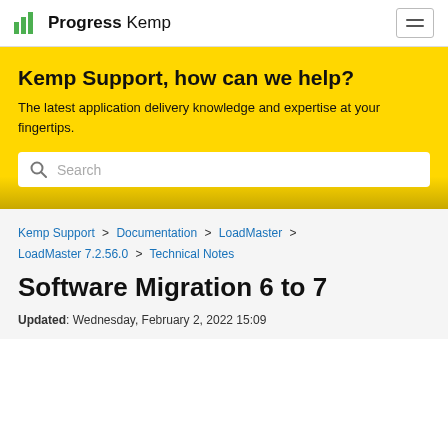Progress Kemp
Kemp Support, how can we help?
The latest application delivery knowledge and expertise at your fingertips.
Search
Kemp Support > Documentation > LoadMaster > LoadMaster 7.2.56.0 > Technical Notes
Software Migration 6 to 7
Updated: Wednesday, February 2, 2022 15:09